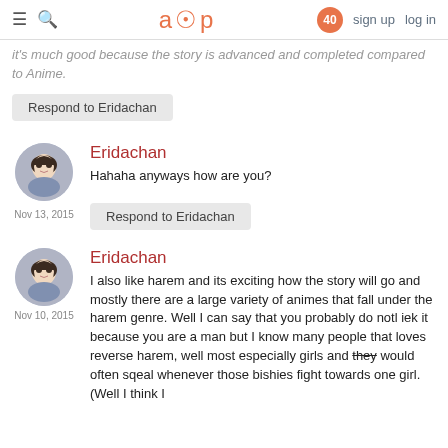aup | 40 | sign up | log in
it's much good because the story is advanced and completed compared to Anime.
Respond to Eridachan
Eridachan
Hahaha anyways how are you?
Nov 13, 2015
Respond to Eridachan
Eridachan
I also like harem and its exciting how the story will go and mostly there are a large variety of animes that fall under the harem genre. Well I can say that you probably do notl iek it because you are a man but I know many people that loves reverse harem, well most especially girls and they would often sqeal whenever those bishies fight towards one girl. (Well I think I
Nov 10, 2015